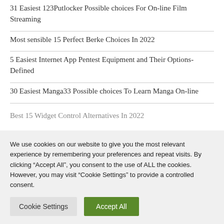31 Easiest 123Putlocker Possible choices For On-line Film Streaming
Most sensible 15 Perfect Berke Choices In 2022
5 Easiest Internet App Pentest Equipment and Their Options- Defined
30 Easiest Manga33 Possible choices To Learn Manga On-line
Best 15 Widget Control Alternatives In 2022
We use cookies on our website to give you the most relevant experience by remembering your preferences and repeat visits. By clicking “Accept All”, you consent to the use of ALL the cookies. However, you may visit “Cookie Settings” to provide a controlled consent.